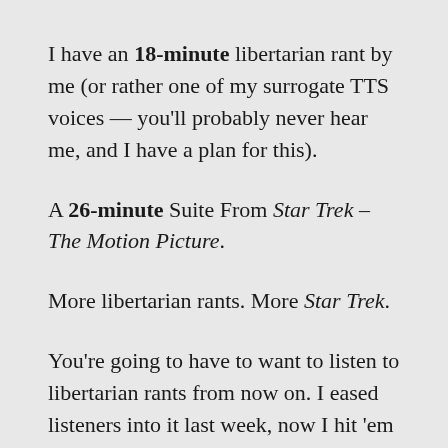I have an 18-minute libertarian rant by me (or rather one of my surrogate TTS voices — you'll probably never hear me, and I have a plan for this).
A 26-minute Suite From Star Trek – The Motion Picture.
More libertarian rants. More Star Trek.
You're going to have to want to listen to libertarian rants from now on. I eased listeners into it last week, now I hit 'em good and hard.
I expect my listenership to hit 0 about halfway